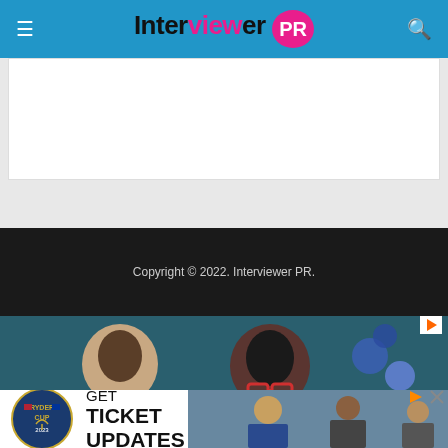Interviewer PR
[Figure (other): White advertisement placeholder area]
Copyright © 2022. Interviewer PR.
[Figure (photo): Two women in a classroom or conference setting; one with red glasses wearing black, one with long dark hair. Advertisement overlay with Ryder Cup ticket updates promotion.]